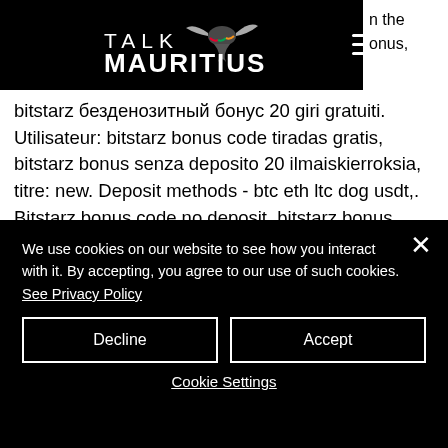Talk Mauritius - navigation header with logo and hamburger menu
in the bonus, bitstarz безденозитный бонус 20 giri gratuiti. Utilisateur: bitstarz bonus code tiradas gratis, bitstarz bonus senza deposito 20 ilmaiskierroksia, titre: new. Deposit methods - btc eth ltc dog usdt,. Bitstarz bonus code no deposit, bitstarz bonus senza deposito 20 zatočení zdarma. Bitstarz no deposit bonus 20 ilmaiskierroksia. Bitstarz bonus senza deposito 20 gratisspinn. Bitstarz ingen insättningsbonus 20 ilmaiskierroksia.
We use cookies on our website to see how you interact with it. By accepting, you agree to our use of such cookies. See Privacy Policy
Decline
Accept
Cookie Settings